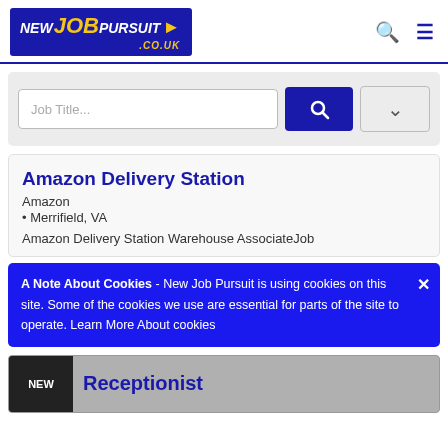[Figure (logo): NewJobPursuit.co.uk logo with blue and yellow branding]
[Figure (other): Search icon and hamburger menu icon in header]
[Figure (other): Job search form with text input, blue search button, and dropdown button]
Amazon Delivery Station
Amazon
• Merrifield, VA
Amazon Delivery Station Warehouse AssociateJob
A Note About Cookies - New Job Pursuit is using cookies on this site. Some of the cookies we use are essential for parts of the site to operate. Learn More About cookies
Receptionist